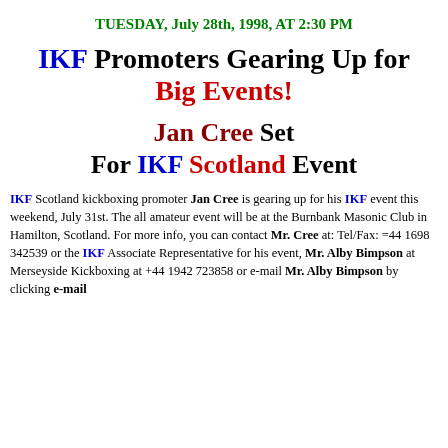TUESDAY, July 28th, 1998, AT 2:30 PM
IKF Promoters Gearing Up for Big Events!
Jan Cree Set For IKF Scotland Event
IKF Scotland kickboxing promoter Jan Cree is gearing up for his IKF event this weekend, July 31st. The all amateur event will be at the Burnbank Masonic Club in Hamilton, Scotland. For more info, you can contact Mr. Cree at: Tel/Fax: =44 1698 342539 or the IKF Associate Representative for his event, Mr. Alby Bimpson at Merseyside Kickboxing at +44 1942 723858 or e-mail Mr. Alby Bimpson by clicking e-mail